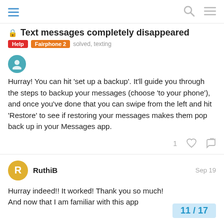Text messages completely disappeared — Help, Fairphone 2, solved, texting
Hurray! You can hit 'set up a backup'. It'll guide you through the steps to backup your messages (choose 'to your phone'), and once you've done that you can swipe from the left and hit 'Restore' to see if restoring your messages makes them pop back up in your Messages app.
RuthiB  Sep 19
Hurray indeed!! It worked! Thank you so much!
And now that I am familiar with this app